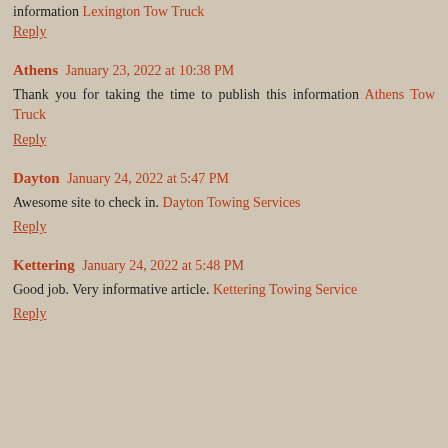information Lexington Tow Truck
Reply
Athens  January 23, 2022 at 10:38 PM
Thank you for taking the time to publish this information Athens Tow Truck
Reply
Dayton  January 24, 2022 at 5:47 PM
Awesome site to check in. Dayton Towing Services
Reply
Kettering  January 24, 2022 at 5:48 PM
Good job. Very informative article. Kettering Towing Service
Reply